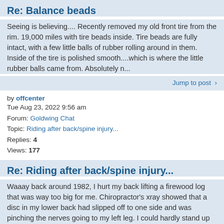Re: Balance beads
Seeing is believing.... Recently removed my old front tire from the rim. 19,000 miles with tire beads inside. Tire beads are fully intact, with a few little balls of rubber rolling around in them. Inside of the tire is polished smooth....which is where the little rubber balls came from. Absolutely n...
Jump to post >
by offcenter
Tue Aug 23, 2022 9:56 am
Forum: Goldwing Chat
Topic: Riding after back/spine injury...
Replies: 4
Views: 177
Re: Riding after back/spine injury...
Waaay back around 1982, I hurt my back lifting a firewood log that was way too big for me. Chiropractor's xray showed that a disc in my lower back had slipped off to one side and was pinching the nerves going to my left leg. I could hardly stand up without my wife's help. However, if I could get my ...
Jump to post >
by offcenter